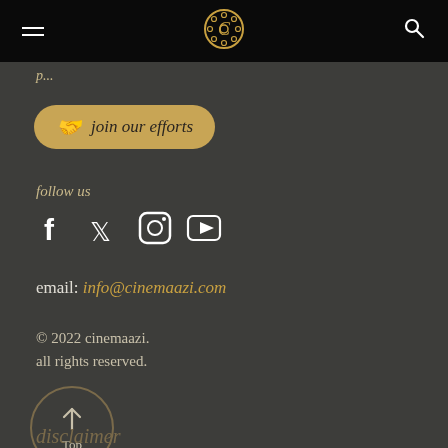Navigation bar with hamburger menu, Cinemaazi logo, and search icon
join our efforts
follow us
[Figure (infographic): Social media icons: Facebook, Twitter, Instagram, YouTube]
email: info@cinemaazi.com
© 2022 cinemaazi.
all rights reserved.
[Figure (infographic): Circular 'Top' button with upward arrow]
disclaimer